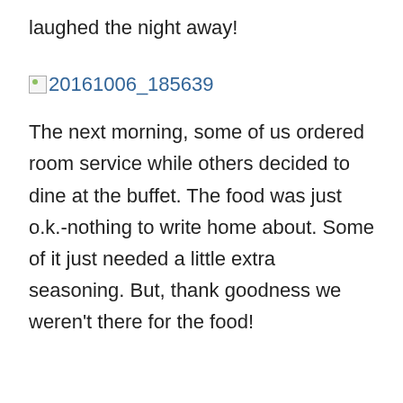laughed the night away!
[Figure (other): Broken image placeholder with link text '20161006_185639']
The next morning, some of us ordered room service while others decided to dine at the buffet. The food was just o.k.-nothing to write home about. Some of it just needed a little extra seasoning. But, thank goodness we weren't there for the food!